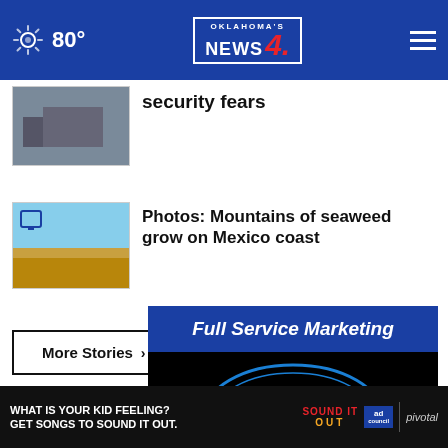Oklahoma's News 4 — 80°
security fears
Photos: Mountains of seaweed grow on Mexico coast
More Stories ›
[Figure (screenshot): Full Service Marketing advertisement with HIGH FIVE logo]
[Figure (screenshot): Bottom banner ad: WHAT IS YOUR KID FEELING? GET SONGS TO SOUND IT OUT. Sound It Out / Ad Council / Pivotal]